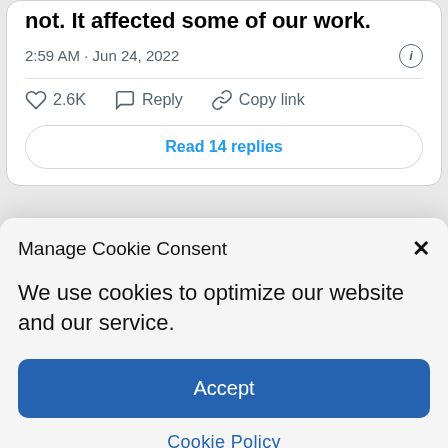not. It affected some of our work.
2:59 AM · Jun 24, 2022
2.6K  Reply  Copy link
Read 14 replies
Manage Cookie Consent
We use cookies to optimize our website and our service.
Accept
Cookie Policy